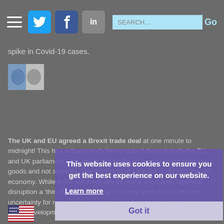spike in Covid-19 cases.
[Figure (illustration): Thumbnail image showing hands/Brexit illustration]
The UK and EU agreed a Brexit trade deal at one minute to midnight! This has subsequently been rushed through both the EU and UK parliament. Yes, this is a 'thin Brexit deal' concentrating on goods and not services. The exclusion of services could hurt the UK economy. While there will inevitably be some short-term logistical disruption a 'thin deal' is better than 'no deal' and should remove uncertainty for many UK businesses. Sterling moved above $1.36 on these developments.
[Figure (illustration): US flag icon]
This website uses cookies to ensure you get the best experience on our website.
Learn more
Got it